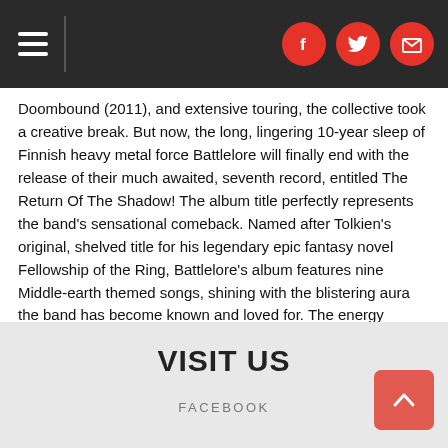Navigation header with hamburger menu and social icons (Facebook, Twitter, Email)
Doombound (2011), and extensive touring, the collective took a creative break. But now, the long, lingering 10-year sleep of Finnish heavy metal force Battlelore will finally end with the release of their much awaited, seventh record, entitled The Return Of The Shadow! The album title perfectly represents the band's sensational comeback. Named after Tolkien's original, shelved title for his legendary epic fantasy novel Fellowship of the Ring, Battlelore's album features nine Middle-earth themed songs, shining with the blistering aura the band has become known and loved for. The energy Battlelore showcases on The Return Of The Shadow, their first full-length album in more than 10 years, is immediately evident, making this record one of their strongest, heaviest and best works to date. Thankfully it's not just their shadows, but the return of one of the most thrilling acts in heavy fantasy metal - welcome back, Battlelore!
VISIT US
FACEBOOK